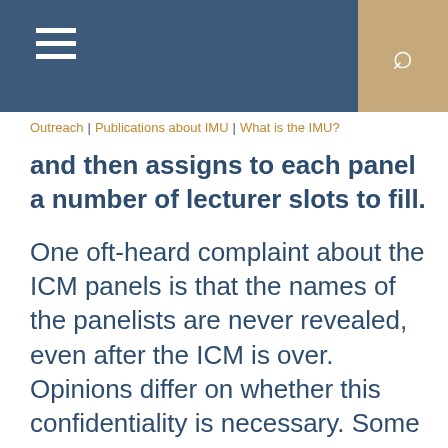Outreach | Publications about IMU | What is the IMU?
and then assigns to each panel a number of lecturer slots to fill.
One oft-heard complaint about the ICM panels is that the names of the panelists are never revealed, even after the ICM is over. Opinions differ on whether this confidentiality is necessary. Some say the stakes are so high that the panels would come under too much pressure if their names were known, so confidentiality is necessary to insure that the panels are free to choose speakers based purely on mathematical merit; in this regard, the panels are similar to journal referees. Others disagree, noting that because the panel members